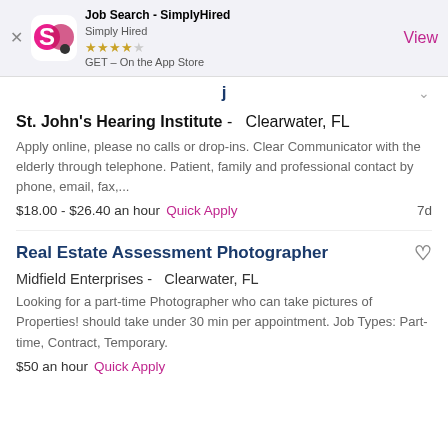[Figure (screenshot): App Store banner for Job Search - SimplyHired app with logo, star rating, and View button]
St. John's Hearing Institute - Clearwater, FL
Apply online, please no calls or drop-ins. Clear Communicator with the elderly through telephone. Patient, family and professional contact by phone, email, fax,...
$18.00 - $26.40 an hour  Quick Apply  7d
Real Estate Assessment Photographer
Midfield Enterprises -  Clearwater, FL
Looking for a part-time Photographer who can take pictures of Properties! should take under 30 min per appointment. Job Types: Part-time, Contract, Temporary.
$50 an hour  Quick Apply